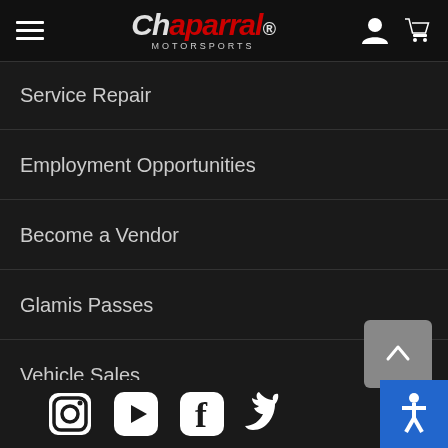[Figure (logo): Chaparral Motorsports logo with hamburger menu, user icon, and cart icon in dark header]
Service Repair
Employment Opportunities
Become a Vendor
Glamis Passes
Vehicle Sales
[Figure (screenshot): Social media icons: Instagram, YouTube, Facebook, Twitter, and accessibility button at bottom of page]